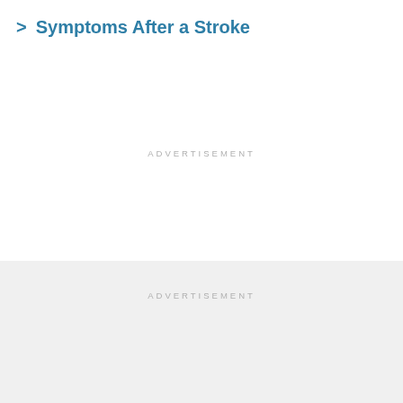Symptoms After a Stroke
ADVERTISEMENT
ADVERTISEMENT